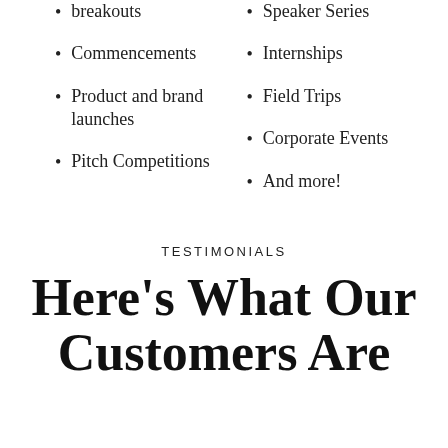breakouts
Speaker Series
Commencements
Internships
Product and brand launches
Field Trips
Corporate Events
Pitch Competitions
And more!
TESTIMONIALS
Here's What Our Customers Are